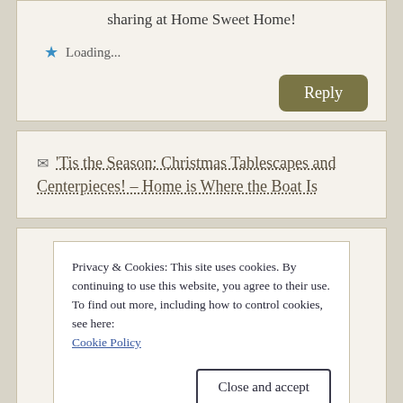sharing at Home Sweet Home!
Loading...
Reply
Pingback: 'Tis the Season: Christmas Tablescapes and Centerpieces! – Home is Where the Boat Is
Privacy & Cookies: This site uses cookies. By continuing to use this website, you agree to their use.
To find out more, including how to control cookies, see here: Cookie Policy
Close and accept